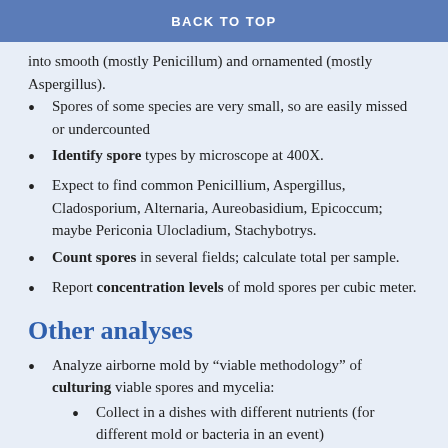BACK TO TOP
into smooth (mostly Penicillum) and ornamented (mostly Aspergillus).
Spores of some species are very small, so are easily missed or undercounted
Identify spore types by microscope at 400X.
Expect to find common Penicillium, Aspergillus, Cladosporium, Alternaria, Aureobasidium, Epicoccum; maybe Periconia Ulocladium, Stachybotrys.
Count spores in several fields; calculate total per sample.
Report concentration levels of mold spores per cubic meter.
Other analyses
Analyze airborne mold by “viable methodology” of culturing viable spores and mycelia:
Collect in a dishes with different nutrients (for different mold or bacteria in an event)